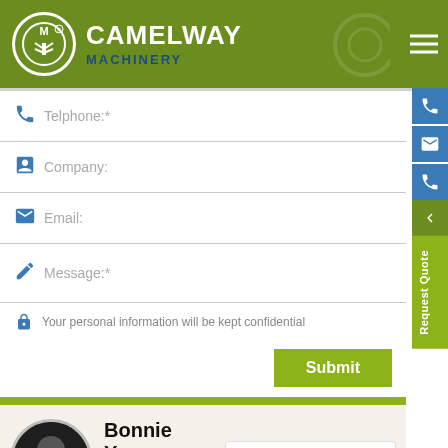[Figure (logo): Camelway Machinery logo — circular emblem with tree/machinery icon on olive/green background header with brand name CAMELWAY MACHINERY]
Telphone:*
Company:
Email:
Message:*
Your personal information will be kept confidential
Submit
Bonnie Yang
Sales manager
+86 17839193601
Specialized in the production of all kinds of construction machines for more than 38 years. Provide you with
Request Quote